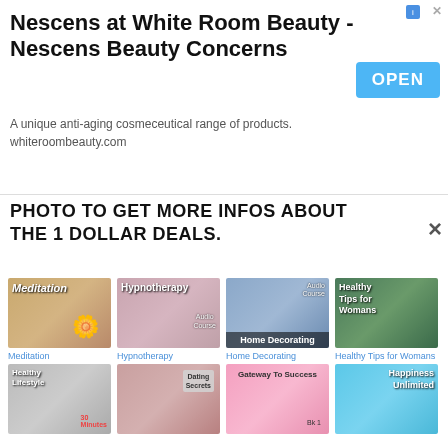[Figure (screenshot): Ad banner for Nescens at White Room Beauty with OPEN button]
Nescens at White Room Beauty - Nescens Beauty Concerns
A unique anti-aging cosmeceutical range of products. whiteroombeauty.com
PHOTO TO GET MORE INFOS ABOUT THE 1 DOLLAR DEALS.
[Figure (screenshot): Meditation product thumbnail - woman lying with yellow flower]
Meditation
[Figure (screenshot): Hypnotherapy product thumbnail - woman sleeping]
Hypnotherapy
[Figure (screenshot): Home Decorating audio course product thumbnail]
Home Decorating
[Figure (screenshot): Healthy Tips for Womans product thumbnail]
Healthy Tips for Womans
[Figure (screenshot): Healthy Lifestyle product thumbnail]
[Figure (screenshot): Dating Secrets product thumbnail]
[Figure (screenshot): Gateway To Success product thumbnail]
[Figure (screenshot): Happiness Unlimited product thumbnail]